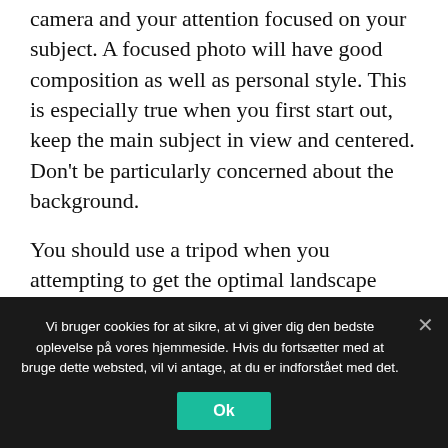You can improve your photographs by keeping the camera and your attention focused on your subject. A focused photo will have good composition as well as personal style. This is especially true when you first start out, keep the main subject in view and centered. Don't be particularly concerned about the background.
You should use a tripod when you attempting to get the optimal landscape shot. Having a sturdy tripod for your camera to sit on is imperative for taking any sort of picture, especially those that deal with landscapes, since you'll be able to change the settings without your camera shaking.
Vi bruger cookies for at sikre, at vi giver dig den bedste oplevelse på vores hjemmeside. Hvis du fortsætter med at bruge dette websted, vil vi antage, at du er indforstået med det.